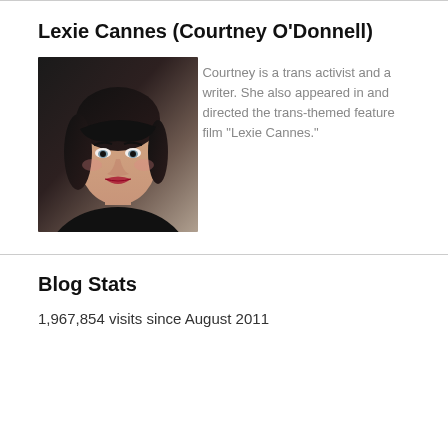Lexie Cannes (Courtney O'Donnell)
[Figure (photo): Headshot photo of Courtney O'Donnell, a woman with dark hair and bangs, looking at the camera.]
Courtney is a trans activist and a writer. She also appeared in and directed the trans-themed feature film "Lexie Cannes."
Blog Stats
1,967,854 visits since August 2011